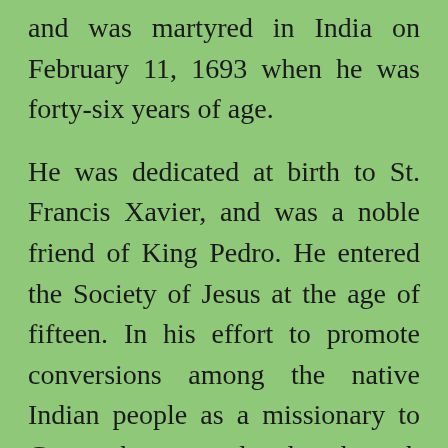and was martyred in India on February 11, 1693 when he was forty-six years of age.
He was dedicated at birth to St. Francis Xavier, and was a noble friend of King Pedro. He entered the Society of Jesus at the age of fifteen. In his effort to promote conversions among the native Indian people as a missionary to Goa, he wandered through Malabar and other regions and even adopted the customs and dress of the Brahmin caste which gave him access to the noble classes. His